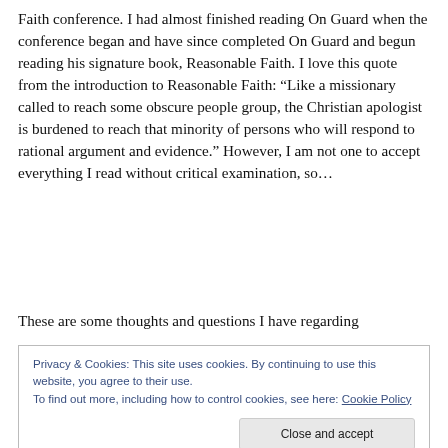Faith conference. I had almost finished reading On Guard when the conference began and have since completed On Guard and begun reading his signature book, Reasonable Faith. I love this quote from the introduction to Reasonable Faith: “Like a missionary called to reach some obscure people group, the Christian apologist is burdened to reach that minority of persons who will respond to rational argument and evidence.” However, I am not one to accept everything I read without critical examination, so…
These are some thoughts and questions I have regarding
Privacy & Cookies: This site uses cookies. By continuing to use this website, you agree to their use.
To find out more, including how to control cookies, see here: Cookie Policy